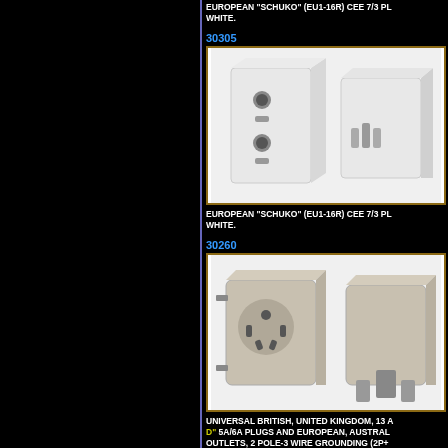EUROPEAN "SCHUKO" (EU1-16R) CEE 7/3 PL... WHITE.
30305
[Figure (photo): European Schuko (EU1-16R) CEE 7/3 adapter plug - front and side view, white color, two outlets shown]
EUROPEAN "SCHUKO" (EU1-16R) CEE 7/3 PL... WHITE.
30260
[Figure (photo): Universal British/UK 13A adapter with universal input socket and UK-style 3-pin plug, grey color]
UNIVERSAL BRITISH, UNITED KINGDOM, 13 A... D" 5A/6A PLUGS AND EUROPEAN, AUSTRAL... OUTLETS, 2 POLE-3 WIRE GROUNDING (2P+...